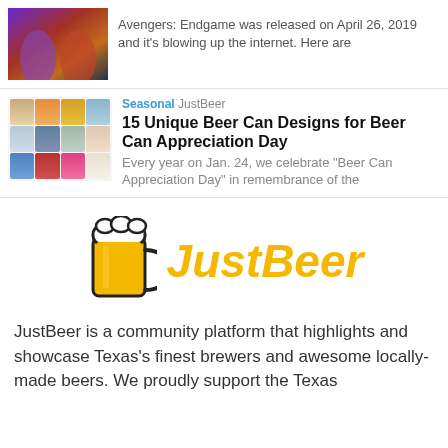[Figure (photo): Avengers Endgame movie thumbnail with superhero figures in purple/red tones]
Avengers: Endgame was released on April 26, 2019 and it's blowing up the internet. Here are
[Figure (photo): Grid of 12 colorful beer cans in various designs]
Seasonal JustBeer
15 Unique Beer Can Designs for Beer Can Appreciation Day
Every year on Jan. 24, we celebrate "Beer Can Appreciation Day" in remembrance of the
[Figure (logo): JustBeer logo: beer mug icon with golden JustBeer text]
JustBeer is a community platform that highlights and showcase Texas's finest brewers and awesome locally-made beers. We proudly support the Texas